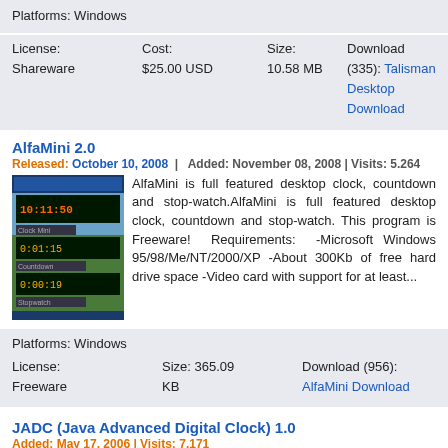Platforms: Windows
License: Shareware  Cost: $25.00 USD  Size: 10.58 MB  Download (335): Talisman Desktop Download
AlfaMini 2.0
Released: October 10, 2008  |  Added: November 08, 2008 | Visits: 5.264
[Figure (screenshot): Screenshot of AlfaMini desktop clock application showing countdown and stopwatch displays]
AlfaMini is full featured desktop clock, countdown and stop-watch.AlfaMini is full featured desktop clock, countdown and stop-watch. This program is Freeware! Requirements: -Microsoft Windows 95/98/Me/NT/2000/XP -About 300Kb of free hard drive space -Video card with support for at least...
Platforms: Windows
License: Freeware  Size: 365.09 KB  Download (956): AlfaMini Download
JADC (Java Advanced Digital Clock) 1.0
Added: May 17, 2006 | Visits: 7.171
[Figure (screenshot): Screenshot of JADC Java Advanced Digital Clock application showing digital clock display]
Java Advanced Digital Clock (JADC) is both a digital clock and a time counter (countdown or countup display, to or from a particular time). JADC is browser-independent and highly-